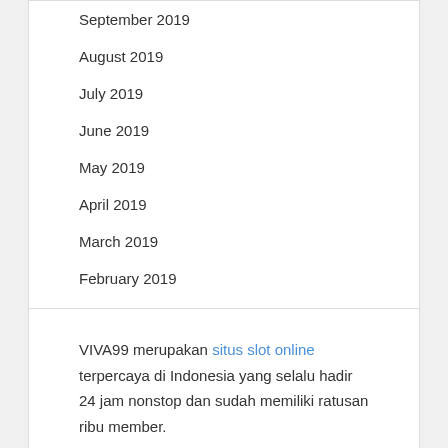September 2019
August 2019
July 2019
June 2019
May 2019
April 2019
March 2019
February 2019
VIVA99 merupakan situs slot online terpercaya di Indonesia yang selalu hadir 24 jam nonstop dan sudah memiliki ratusan ribu member.